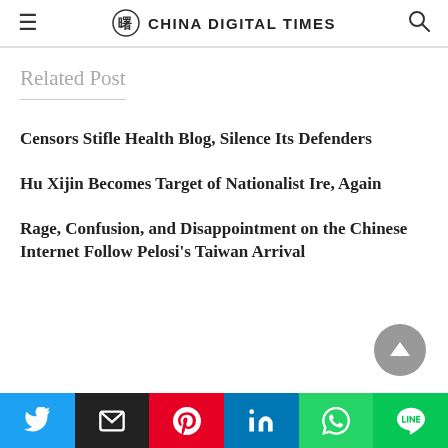CHINA DIGITAL TIMES
Related Post
Censors Stifle Health Blog, Silence Its Defenders
Hu Xijin Becomes Target of Nationalist Ire, Again
Rage, Confusion, and Disappointment on the Chinese Internet Follow Pelosi's Taiwan Arrival